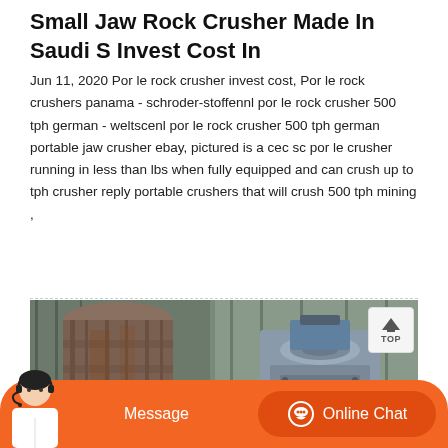Small Jaw Rock Crusher Made In Saudi S Invest Cost In
Jun 11, 2020 Por le rock crusher invest cost, Por le rock crushers panama - schroder-stoffennl por le rock crusher 500 tph german - weltscenl por le rock crusher 500 tph german portable jaw crusher ebay, pictured is a cec sc por le crusher running in less than lbs when fully equipped and can crush up to tph crusher reply portable crushers that will crush 500 tph mining ,
[Figure (photo): Industrial jaw rock crusher machinery photographed inside a warehouse/industrial building. Shows large metal crushing equipment including a cylindrical hopper and crusher unit.]